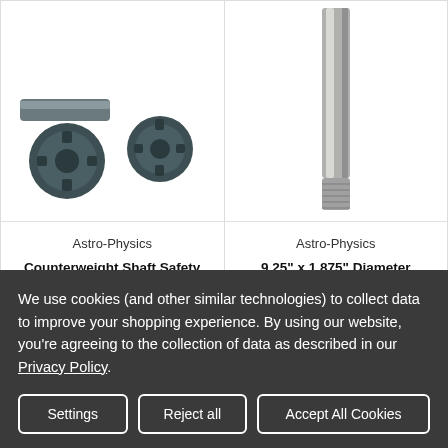[Figure (photo): Product photo of Counterweight Shaft Safety Stop, One-Piece, Washerless - shows metal tube with two black plastic circular end caps/washers]
[Figure (photo): Product photo of 9.25 inch x 1.875 inch Diameter Counterweight Shaft Extension, Stainless Steel - shows a long silver metal cylindrical shaft with threaded end]
Astro-Physics
Counterweight Shaft Safety Stop, One-Piece, Washerless (M12676)
$35.00
Astro-Physics
9.25" x 1.875" Diameter Counterweight Shaft Extension, Stainless Steel (M12675)
We use cookies (and other similar technologies) to collect data to improve your shopping experience. By using our website, you're agreeing to the collection of data as described in our Privacy Policy.